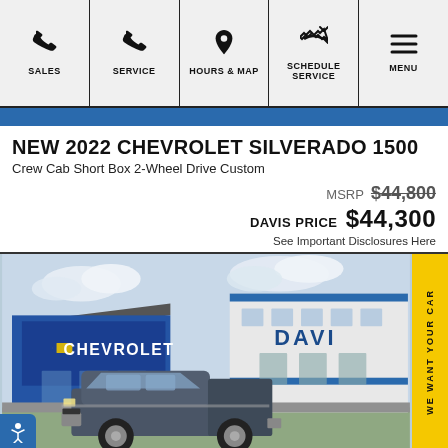SALES | SERVICE | HOURS & MAP | SCHEDULE SERVICE | MENU
NEW 2022 CHEVROLET SILVERADO 1500
Crew Cab Short Box 2-Wheel Drive Custom
MSRP $44,800
DAVIS PRICE $44,300
See Important Disclosures Here
[Figure (photo): Exterior photo of Davis Chevrolet dealership with a Chevrolet Silverado truck parked in front. The dealership shows a large blue Chevrolet sign with the bowtie logo and the word CHEVROLET, and a white building with DAVI visible. A yellow 'WE WANT YOUR CAR' tab is on the right side.]